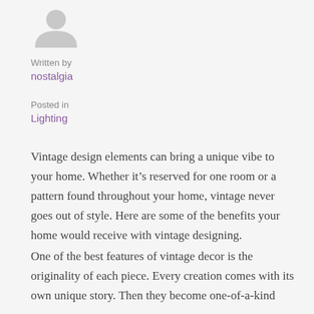[Figure (illustration): Generic user avatar silhouette, gray colored]
Written by
nostalgia
Posted in
Lighting
Vintage design elements can bring a unique vibe to your home. Whether it’s reserved for one room or a pattern found throughout your home, vintage never goes out of style. Here are some of the benefits your home would receive with vintage designing.
One of the best features of vintage decor is the originality of each piece. Every creation comes with its own unique story. Then they become one-of-a-kind